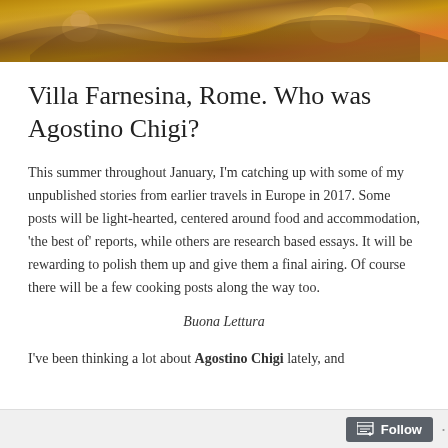[Figure (illustration): Decorative header image showing a Renaissance-style painting with figures, angels/cherubs, and golden/orange tones suggesting a fresco or ceiling painting detail.]
Villa Farnesina, Rome. Who was Agostino Chigi?
This summer throughout January, I'm catching up with some of my unpublished stories from earlier travels in Europe in 2017. Some posts will be light-hearted, centered around food and accommodation, 'the best of' reports, while others are research based essays. It will be rewarding to polish them up and give them a final airing. Of course there will be a few cooking posts along the way too.
Buona Lettura
I've been thinking a lot about Agostino Chigi lately, and